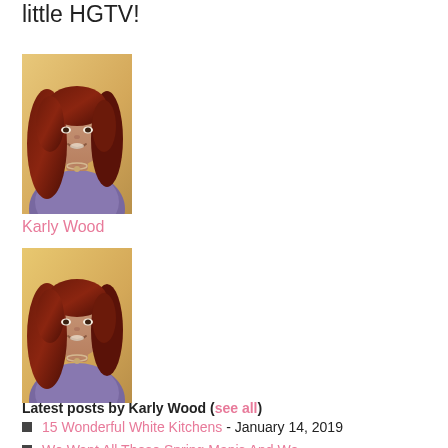little HGTV!
[Figure (photo): Portrait photo of Karly Wood, a woman with dark red hair, smiling, wearing a floral top]
Karly Wood
[Figure (photo): Second portrait photo of Karly Wood, same pose and appearance]
Latest posts by Karly Wood (see all)
15 Wonderful White Kitchens - January 14, 2019
We Want All These Spring Manis And We